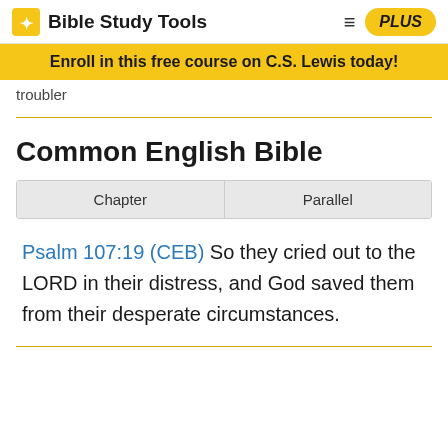Bible Study Tools
Enroll in this free course on C.S. Lewis today!
troubler
Common English Bible
| Chapter | Parallel |
| --- | --- |
Psalm 107:19 (CEB) So they cried out to the LORD in their distress, and God saved them from their desperate circumstances.